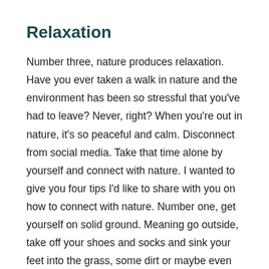Relaxation
Number three, nature produces relaxation. Have you ever taken a walk in nature and the environment has been so stressful that you've had to leave? Never, right? When you're out in nature, it's so peaceful and calm. Disconnect from social media. Take that time alone by yourself and connect with nature. I wanted to give you four tips I'd like to share with you on how to connect with nature. Number one, get yourself on solid ground. Meaning go outside, take off your shoes and socks and sink your feet into the grass, some dirt or maybe even some mud after a big rain. Remember your childhood when we used to jump in puddles